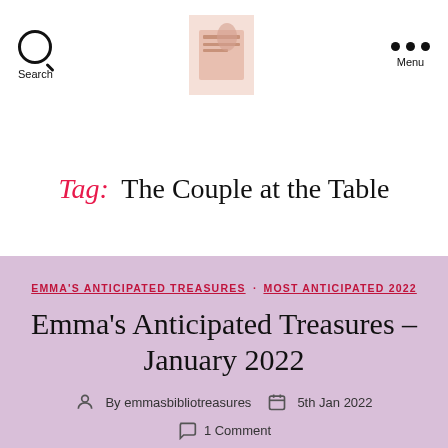Search | [Logo image] | Menu
Tag: The Couple at the Table
EMMA'S ANTICIPATED TREASURES · MOST ANTICIPATED 2022
Emma's Anticipated Treasures – January 2022
By emmasbibliotreasures  5th Jan 2022
1 Comment